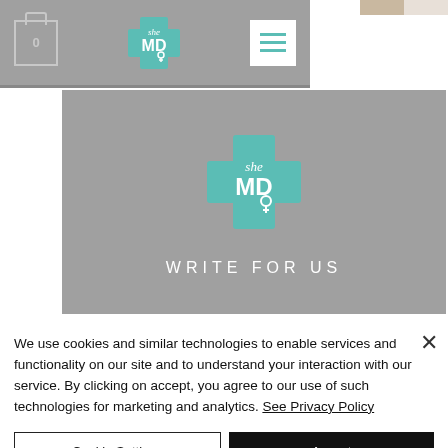[Figure (screenshot): sheMD website navigation bar with cart icon, teal cross logo, and hamburger menu]
[Figure (logo): sheMD teal cross logo centered on grey hero background with WRITE FOR US text below]
We use cookies and similar technologies to enable services and functionality on our site and to understand your interaction with our service. By clicking on accept, you agree to our use of such technologies for marketing and analytics. See Privacy Policy
Cookie Settings
Accept